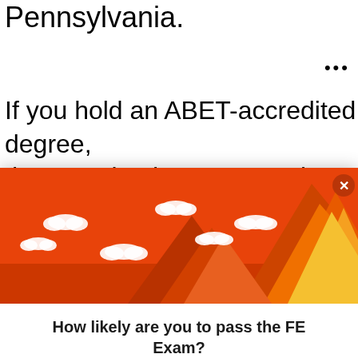Pennsylvania.
If you hold an ABET-accredited degree, then to take the FE Exam in
[Figure (illustration): Orange popup banner with mountain illustration showing stylized orange and yellow peaks against an orange sky with white cloud shapes]
How likely are you to pass the FE Exam?
Most don't know where to start preparing for the FE Exam - and because of that, they end up failing. Take this two-minute quiz and get a path tailored to fit your situation and how to get started fast.
TAKE THE QUIZ